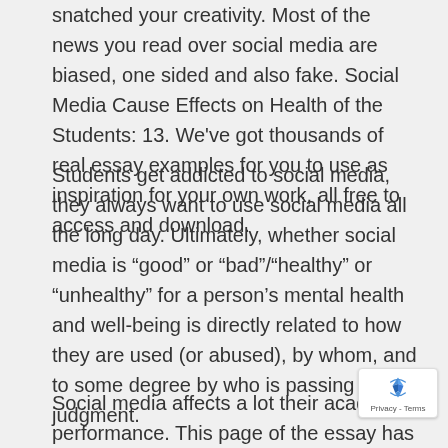snatched your creativity. Most of the news you read over social media are biased, one sided and also fake. Social Media Cause Effects on Health of the Students: 13. We've got thousands of real essay examples for you to use as inspiration for your own work, all free to access and download.
Students get addicted to social media, they always want to use social media all the long day. Ultimately, whether social media is “good” or “bad”/“healthy” or “unhealthy” for a person’s mental health and well-being is directly related to how they are used (or abused), by whom, and to some degree by who is passing judgment.
Social media affects a lot their academic performance. This page of the essay has 841 words.
[Figure (other): reCAPTCHA privacy badge with rotating arrows icon and Privacy - Terms text]